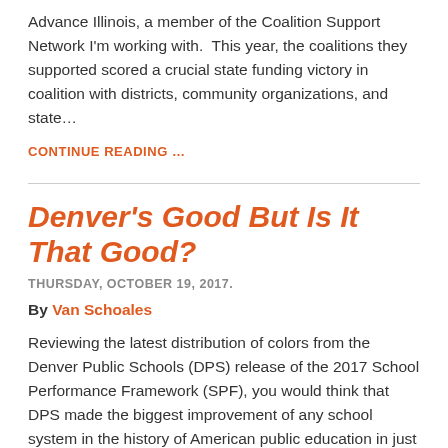Advance Illinois, a member of the Coalition Support Network I'm working with.  This year, the coalitions they supported scored a crucial state funding victory in coalition with districts, community organizations, and state…
CONTINUE READING …
Denver's Good But Is It That Good?
THURSDAY, OCTOBER 19, 2017.
By Van Schoales
Reviewing the latest distribution of colors from the Denver Public Schools (DPS) release of the 2017 School Performance Framework (SPF), you would think that DPS made the biggest improvement of any school system in the history of American public education in just one year, where the district went from identifying 1 in 7 elementary schools…
CONTINUE READING …